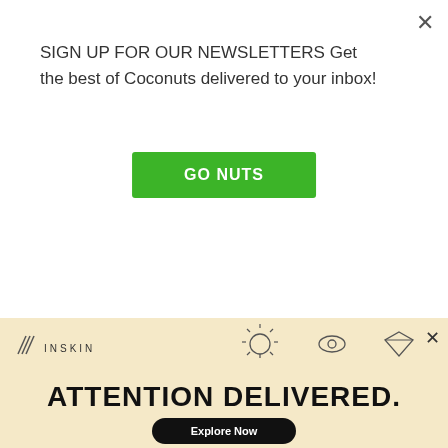SIGN UP FOR OUR NEWSLETTERS Get the best of Coconuts delivered to your inbox!
GO NUTS
Scenario 3: Prasert and Billy are having a meeting about
[Figure (other): Inskin advertisement banner with logo, icons (lightbulb, eye, diamond), ATTENTION DELIVERED. headline, and Explore Now button on a light yellow/cream background]